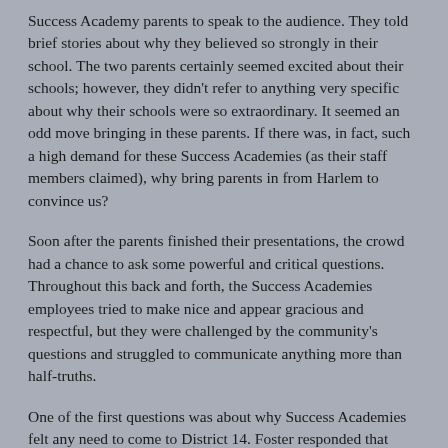Success Academy parents to speak to the audience. They told brief stories about why they believed so strongly in their school. The two parents certainly seemed excited about their schools; however, they didn't refer to anything very specific about why their schools were so extraordinary. It seemed an odd move bringing in these parents. If there was, in fact, such a high demand for these Success Academies (as their staff members claimed), why bring parents in from Harlem to convince us?
Soon after the parents finished their presentations, the crowd had a chance to ask some powerful and critical questions. Throughout this back and forth, the Success Academies employees tried to make nice and appear gracious and respectful, but they were challenged by the community's questions and struggled to communicate anything more than half-truths.
One of the first questions was about why Success Academies felt any need to come to District 14. Foster responded that there was "demand" for their charter school. When asked to explain this demand, Jenny Sedlis (Director of External Affairs) joined her colleague at the front. She claimed there was a demand because 1,400 families had entered the lottery for the 168 spots available at